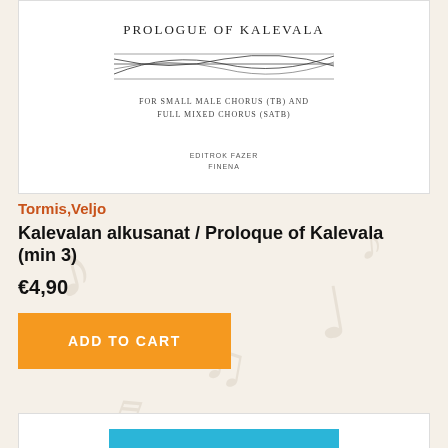[Figure (photo): Sheet music cover for 'Prologue of Kalevala' showing title, wavy musical lines, subtitle 'FOR SMALL MALE CHORUS (TB) AND FULL MIXED CHORUS (SATB)', and publisher Editio Fazer Finland]
Tormis,Veljo
Kalevalan alkusanat / Proloque of Kalevala (min 3)
€4,90
ADD TO CART
[Figure (photo): Book cover for Veljo Tormis 'Unustatud Rahvad / Forgotten Peoples' with blue background and repeated text lines]